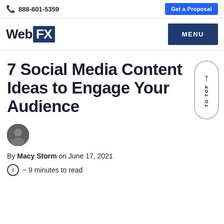📞 888-601-5359 | Get a Proposal
WebFX | MENU
7 Social Media Content Ideas to Engage Your Audience
By Macy Storm on June 17, 2021
~ 9 minutes to read